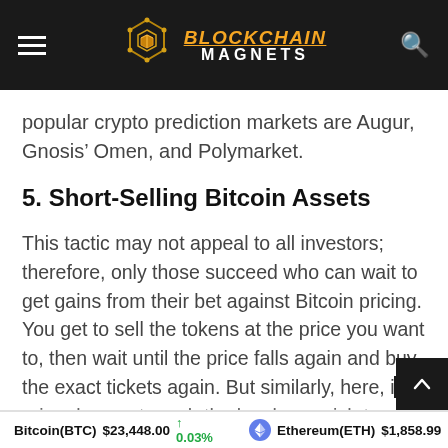BLOCKCHAIN MAGNETS
popular crypto prediction markets are Augur, Gnosis’ Omen, and Polymarket.
5. Short-Selling Bitcoin Assets
This tactic may not appeal to all investors; therefore, only those succeed who can wait to get gains from their bet against Bitcoin pricing. You get to sell the tokens at the price you want to, then wait until the price falls again and buy the exact tickets again. But similarly, here, if price does not reach the level you wish to, you
Bitcoin(BTC) $23,448.00 ↑ 0.03%   Ethereum(ETH) $1,858.99